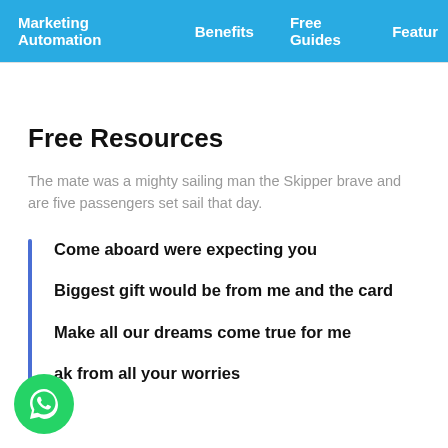Marketing Automation   Benefits   Free Guides   Featur
Free Resources
The mate was a mighty sailing man the Skipper brave and are five passengers set sail that day.
Come aboard were expecting you
Biggest gift would be from me and the card
Make all our dreams come true for me
ak from all your worries